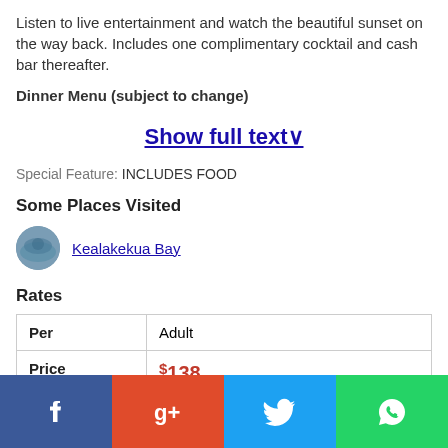Listen to live entertainment and watch the beautiful sunset on the way back. Includes one complimentary cocktail and cash bar thereafter.
Dinner Menu (subject to change)
Show full text ▾
Special Feature: INCLUDES FOOD
Some Places Visited
[Figure (photo): Small circular thumbnail of Kealakekua Bay]
Kealakekua Bay
Rates
| Per | Adult |
| --- | --- |
| Price | $138 |
|  | Click the "book it" button to see other rates, live availability |
[Figure (infographic): Social media share bar with Facebook, Google+, Twitter, and WhatsApp buttons]